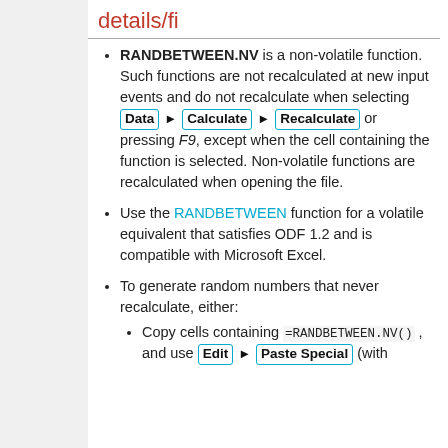details/fi
RANDBETWEEN.NV is a non-volatile function. Such functions are not recalculated at new input events and do not recalculate when selecting Data ▶ Calculate ▶ Recalculate or pressing F9, except when the cell containing the function is selected. Non-volatile functions are recalculated when opening the file.
Use the RANDBETWEEN function for a volatile equivalent that satisfies ODF 1.2 and is compatible with Microsoft Excel.
To generate random numbers that never recalculate, either:
Copy cells containing =RANDBETWEEN.NV() , and use Edit ▶ Paste Special (with